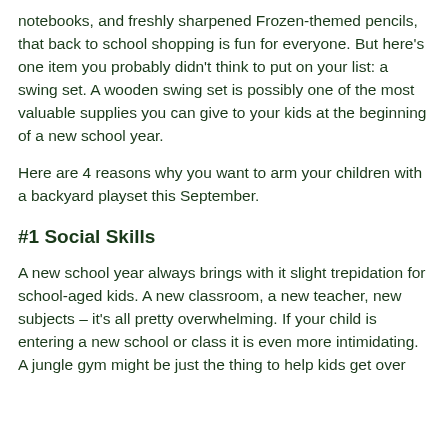notebooks, and freshly sharpened Frozen-themed pencils, that back to school shopping is fun for everyone. But here's one item you probably didn't think to put on your list: a swing set. A wooden swing set is possibly one of the most valuable supplies you can give to your kids at the beginning of a new school year.
Here are 4 reasons why you want to arm your children with a backyard playset this September.
#1 Social Skills
A new school year always brings with it slight trepidation for school-aged kids. A new classroom, a new teacher, new subjects – it's all pretty overwhelming. If your child is entering a new school or class it is even more intimidating. A jungle gym might be just the thing to help kids get over...